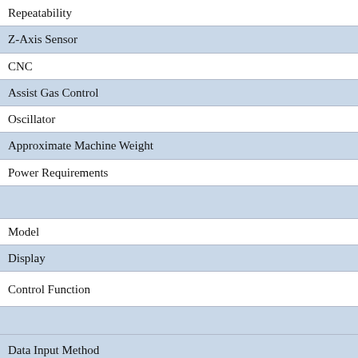| Feature |  |
| --- | --- |
| Repeatability |  |
| Z-Axis Sensor |  |
| CNC |  |
| Assist Gas Control |  |
| Oscillator |  |
| Approximate Machine Weight |  |
| Power Requirements |  |
|  |  |
| Model |  |
| Display |  |
| Control Function |  |
|  |  |
| Data Input Method |  |
| Minimum Command Unit |  |
| Minimum Travel Unit |  |
| Standard Memory |  |
| Hard Drive |  |
| Operating Modes |  |
|  |  |
| Display Modes |  |